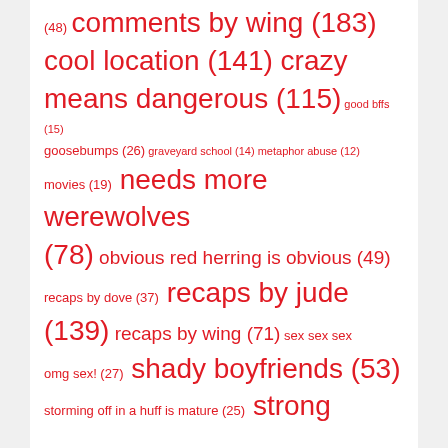(48) comments by wing (183) cool location (141) crazy means dangerous (115) good bffs (15) goosebumps (26) graveyard school (14) metaphor abuse (12) movies (19) needs more werewolves (78) obvious red herring is obvious (49) recaps by dove (37) recaps by jude (139) recaps by wing (71) sex sex sex omg sex! (27) shady boyfriends (53) storming off in a huff is mature (25) strong